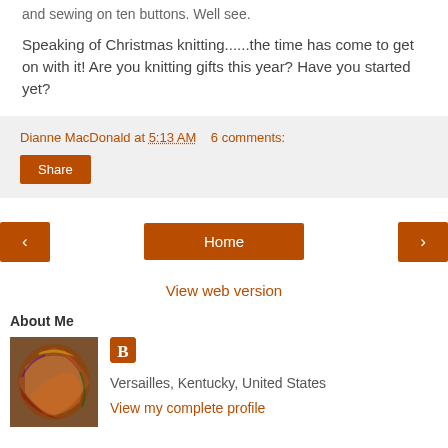and sewing on ten buttons. Well see.
Speaking of Christmas knitting......the time has come to get on with it! Are you knitting gifts this year? Have you started yet?
Dianne MacDonald at 5:13 AM   6 comments:
[Figure (screenshot): Share button (orange/brown rectangle)]
[Figure (screenshot): Navigation buttons: left arrow, Home, right arrow]
View web version
About Me
[Figure (photo): Colorful yarn skein photo used as profile picture]
Versailles, Kentucky, United States
View my complete profile
Powered by Blogger.